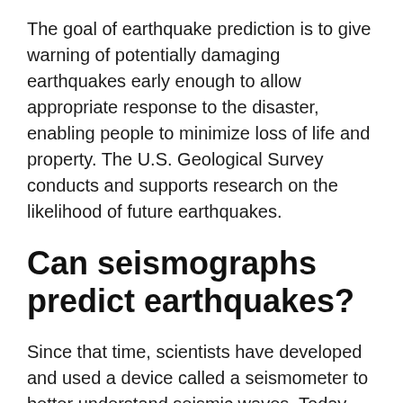The goal of earthquake prediction is to give warning of potentially damaging earthquakes early enough to allow appropriate response to the disaster, enabling people to minimize loss of life and property. The U.S. Geological Survey conducts and supports research on the likelihood of future earthquakes.
Can seismographs predict earthquakes?
Since that time, scientists have developed and used a device called a seismometer to better understand seismic waves. Today, seismometers help scientists predict earthquakes.